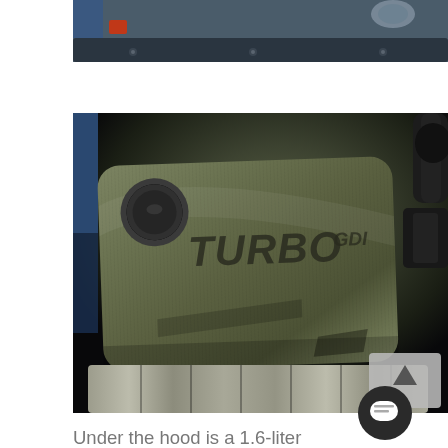[Figure (photo): Partial view of a car engine bay showing components from above, including wiring and mechanical parts with yellow and orange connectors visible]
[Figure (photo): Close-up photo of a Turbo GDI engine cover in an engine bay. The engine cover is dark olive/grey colored with a carbon-fiber texture pattern and embossed 'TURBO GDI' text in italics. An oil filler cap is visible on the left. Chrome exhaust manifold visible at the bottom. A back-to-top button overlay appears in the lower right corner.]
Under the hood is a 1.6-liter turbocharged inline four-cylinder engine pumping out 201 horsepower and 195 pounds per foot of torque